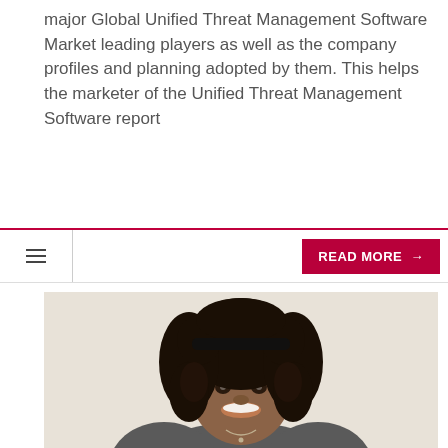major Global Unified Threat Management Software Market leading players as well as the company profiles and planning adopted by them. This helps the marketer of the Unified Threat Management Software report
[Figure (other): Navigation bar with hamburger menu icon on left and red READ MORE → button on right]
[Figure (photo): Professional headshot of a smiling young woman with curly dark hair and a black headband, wearing a grey blazer and a delicate necklace, photographed against a light beige background.]